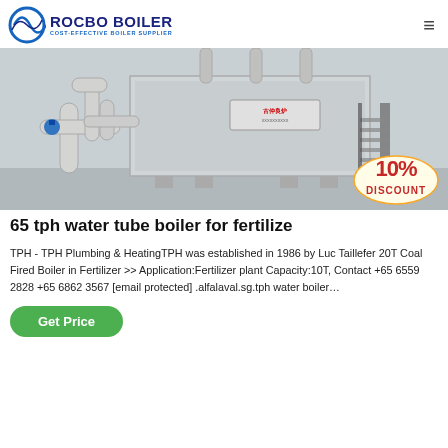ROCBO BOILER — COST-EFFECTIVE BOILER SUPPLIER
[Figure (photo): Industrial water tube boiler with insulated silver pipes, valves, and staircase in a factory setting, with a 10% DISCOUNT badge overlay.]
65 tph water tube boiler for fertilize
TPH - TPH Plumbing & HeatingTPH was established in 1986 by Luc Taillefer 20T Coal Fired Boiler in Fertilizer >> Application:Fertilizer plant Capacity:10T, Contact +65 6559 2828 +65 6862 3567 [email protected] .alfalaval.sg.tph water boiler…
Get Price